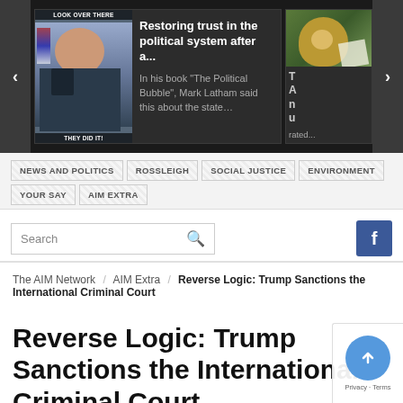[Figure (screenshot): Top dark carousel/slider area with navigation arrows, showing two article cards. Left card: article titled 'Restoring trust in the political system after a...' with text 'In his book "The Political Bubble", Mark Latham said this about the state…'. Right card partially visible with monkey image and text 'rated...']
NEWS AND POLITICS  ROSSLEIGH  SOCIAL JUSTICE  ENVIRONMENT  YOUR SAY  AIM EXTRA
[Figure (screenshot): Search input box with magnifying glass icon and Facebook button on right]
The AIM Network / AIM Extra / Reverse Logic: Trump Sanctions the International Criminal Court
Reverse Logic: Trump Sanctions the International Criminal Court